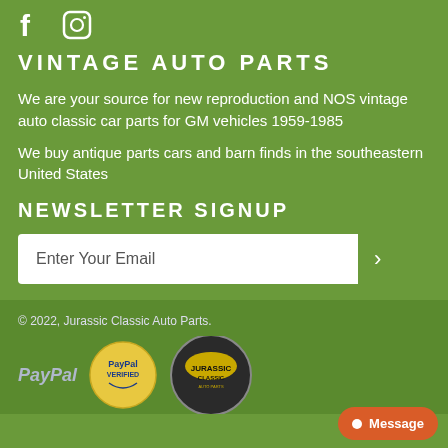[Figure (logo): Facebook and Instagram social media icons in white]
VINTAGE AUTO PARTS
We are your source for new reproduction and NOS vintage auto classic car parts for GM vehicles 1959-1985
We buy antique parts cars and barn finds in the southeastern United States
NEWSLETTER SIGNUP
Enter Your Email
© 2022, Jurassic Classic Auto Parts.
[Figure (logo): PayPal text logo, PayPal Verified badge, and Jurassic Classic Auto Parts logo]
Message